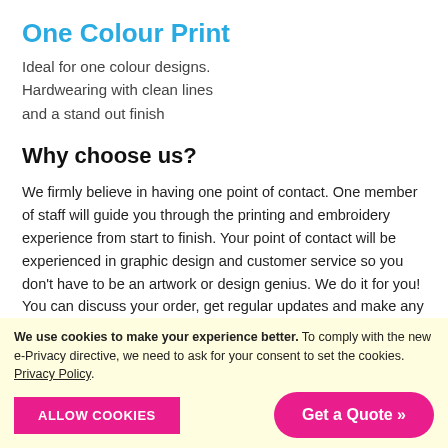One Colour Print
Ideal for one colour designs. Hardwearing with clean lines and a stand out finish
Why choose us?
We firmly believe in having one point of contact. One member of staff will guide you through the printing and embroidery experience from start to finish. Your point of contact will be experienced in graphic design and customer service so you don't have to be an artwork or design genius. We do it for you! You can discuss your order, get regular updates and make any changes or late additions with one person. This is fundamental to creating a fantastic working relationship with our customers.
We use cookies to make your experience better. To comply with the new e-Privacy directive, we need to ask for your consent to set the cookies. Privacy Policy. ALLOW COOKIES  Get a Quote »